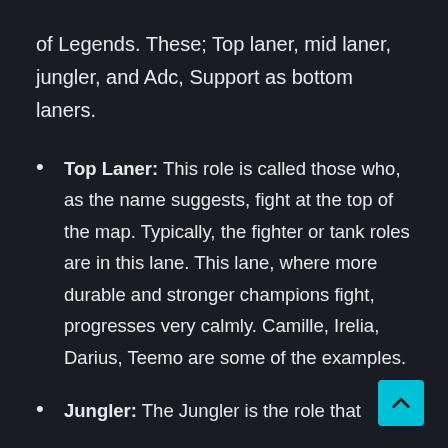of Legends. These; Top laner, mid laner, jungler, and Adc, Support as bottom laners.
Top Laner: This role is called those who, as the name suggests, fight at the top of the map. Typically, the fighter or tank roles are in this lane. This lane, where more durable and stronger champions fight, progresses very calmly. Camille, Irelia, Darius, Teemo are some of the examples.
Jungler: The Jungler is the role that